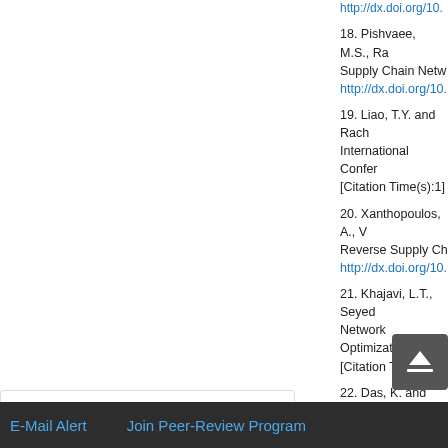http://dx.doi.org/10. (truncated link for ref before 18)
18. Pishvaee, M.S., Ra... Supply Chain Netw... http://dx.doi.org/10.
19. Liao, T.Y. and Rach... International Confer... [Citation Time(s):1]
20. Xanthopoulos, A., V... Reverse Supply Ch... http://dx.doi.org/10.
21. Khajavi, L.T., Seyed... Network Optimizatio... [Citation Tim...
22. Das, K. and ... Recovery ar... 135, 209-22
23. Pochampall...
Top
ABSTRACT
Introduction
Network Design in Supply Chain
Literature Review
Conclusion
E-Mail Alert    Join Peer-Review Program